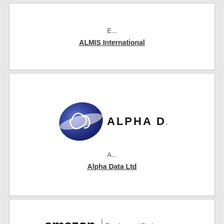E...
ALMIS International
[Figure (logo): Alpha Data logo: blue oval/ellipse shape with stylized letter A, followed by text ALPHA DATA in black capitals]
A...
Alpha Data Ltd
[Figure (logo): Amazon Development Centre Scotland logo: amazon wordmark in black with orange swoosh arrow underneath, vertical bar separator, then text Development Centre Scotland in grey]